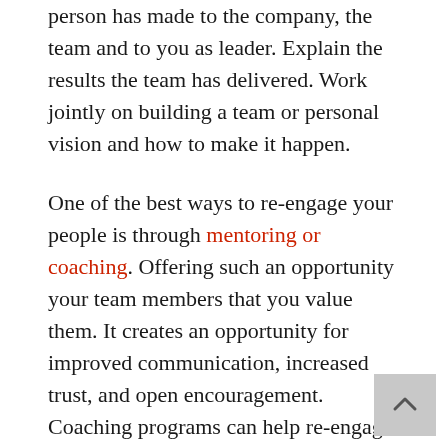person has made to the company, the team and to you as leader. Explain the results the team has delivered. Work jointly on building a team or personal vision and how to make it happen.
One of the best ways to re-engage your people is through mentoring or coaching. Offering such an opportunity your team members that you value them. It creates an opportunity for improved communication, increased trust, and open encouragement. Coaching programs can help re-engage people by opening their minds to a new future and guiding them along the way, and it works for people at any stage of their career.
How have you re-engaged your talent during tough times? We'd love to learn from your